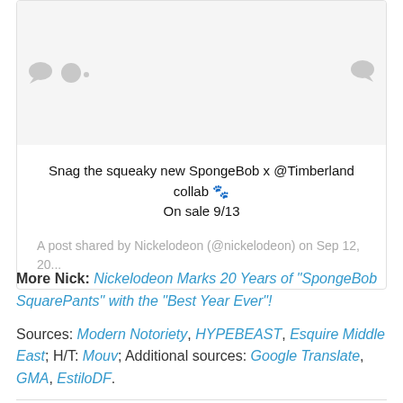[Figure (screenshot): Embedded social media post card with grey placeholder area at top, speech bubble icons on left and right, post text centered below]
Snag the squeaky new SpongeBob x @Timberland collab 🐾
On sale 9/13
A post shared by Nickelodeon (@nickelodeon) on Sep 12, 20...
More Nick: Nickelodeon Marks 20 Years of "SpongeBob SquarePants" with the "Best Year Ever"!
Sources: Modern Notoriety, HYPEBEAST, Esquire Middle East; H/T: Mouv; Additional sources: Google Translate, GMA, EstiloDF.
Follow NickALive! on Twitter, Tumblr, Reddit, via RSS, on Instagram, and/or Facebook for the latest Nickelodeon and